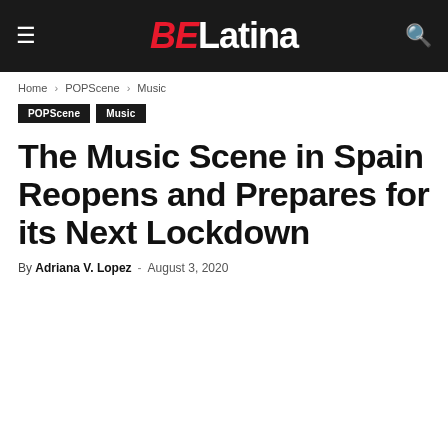BE Latina
Home › POPScene › Music
POPScene
Music
The Music Scene in Spain Reopens and Prepares for its Next Lockdown
By Adriana V. Lopez - August 3, 2020